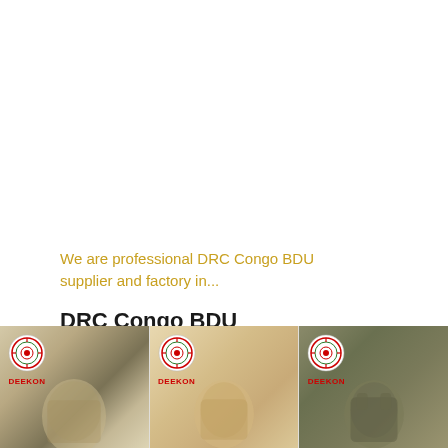We are professional DRC Congo BDU supplier and factory in...
DRC Congo BDU
[Figure (photo): Three product images of DRC Congo BDU military uniforms/jackets, each with a DEEKON logo badge in the top left corner. Left card shows desert camouflage pattern. Middle card shows a sand/beige textured jacket. Right card shows an olive/dark camouflage jacket.]